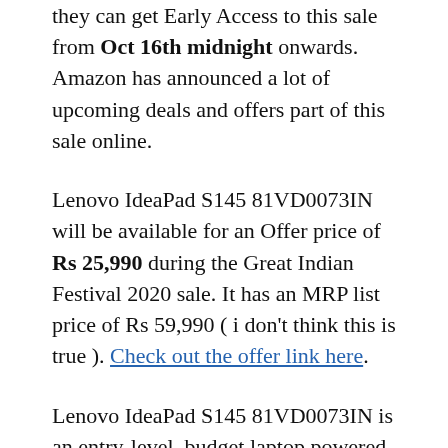they can get Early Access to this sale from Oct 16th midnight onwards. Amazon has announced a lot of upcoming deals and offers part of this sale online.
Lenovo IdeaPad S145 81VD0073IN will be available for an Offer price of Rs 25,990 during the Great Indian Festival 2020 sale. It has an MRP list price of Rs 59,990 ( i don't think this is true ). Check out the offer link here.
Lenovo IdeaPad S145 81VD0073IN is an entry-level, budget laptop powered by the 7th Gen Intel Core i3-7020U Dual-core processor. It has a base clock speed of 2.3Ghz and there is no Turbo Boost available on this. For graphics, it uses integrated Intel HD Graphics 620…